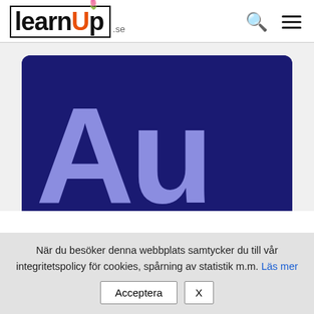[Figure (logo): LearnUp.se logo with tulip flower icon, black border box around 'Learn', orange 'U' in 'Up', with '.se' suffix]
[Figure (screenshot): Adobe Audition app icon — dark navy/indigo background with large light-purple 'Au' letters]
När du besöker denna webbplats samtycker du till vår integritetspolicy för cookies, spårning av statistik m.m. Läs mer
Acceptera   X